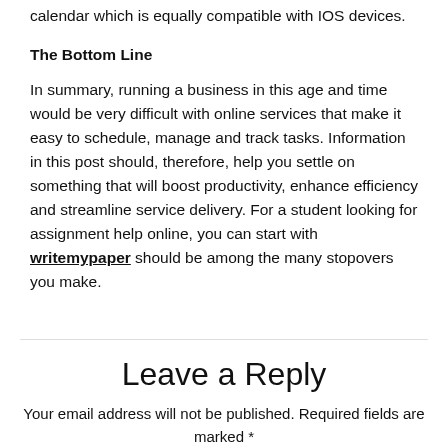calendar which is equally compatible with IOS devices.
The Bottom Line
In summary, running a business in this age and time would be very difficult with online services that make it easy to schedule, manage and track tasks. Information in this post should, therefore, help you settle on something that will boost productivity, enhance efficiency and streamline service delivery. For a student looking for assignment help online, you can start with writemypaper should be among the many stopovers you make.
Leave a Reply
Your email address will not be published. Required fields are marked *